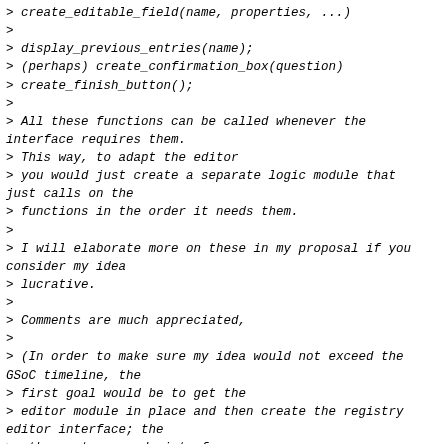> create_editable_field(name, properties, ...)
>
> display_previous_entries(name);
> (perhaps) create_confirmation_box(question)
> create_finish_button();
>
> All these functions can be called whenever the interface requires them.
> This way, to adapt the editor
> you would just create a separate logic module that just calls on the
> functions in the order it needs them.
>
> I will elaborate more on these in my proposal if you consider my idea
> lucrative.
>
> Comments are much appreciated,
>
> (In order to make sure my idea would not exceed the GSoC timeline, the
> first goal would be to get the
> editor module in place and then create the registry editor interface; the
> other net commands interfaces
> can wait if time is too short)
>
> Cheers,
> Vicentiu Ciorbaru
--------------- next part ---------------